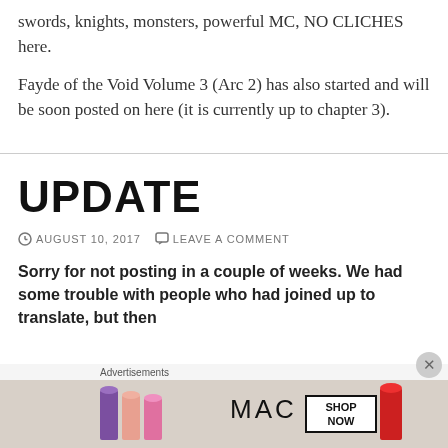swords, knights, monsters, powerful MC, NO CLICHES here.
Fayde of the Void Volume 3 (Arc 2) has also started and will be soon posted on here (it is currently up to chapter 3).
UPDATE
AUGUST 10, 2017   LEAVE A COMMENT
Sorry for not posting in a couple of weeks. We had some trouble with people who had joined up to translate, but then
[Figure (advertisement): MAC cosmetics advertisement showing lipsticks with SHOP NOW button]